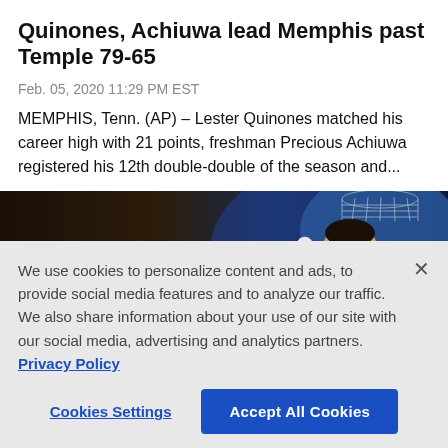Quinones, Achiuwa lead Memphis past Temple 79-65
Feb. 05, 2020 11:29 PM EST
MEMPHIS, Tenn. (AP) – Lester Quinones matched his career high with 21 points, freshman Precious Achiuwa registered his 12th double-double of the season and…
[Figure (photo): Basketball game action photo showing players reaching for the ball near the net, with one player in a white jersey extending his arm.]
We use cookies to personalize content and ads, to provide social media features and to analyze our traffic. We also share information about your use of our site with our social media, advertising and analytics partners.  Privacy Policy
Cookies Settings   Accept All Cookies